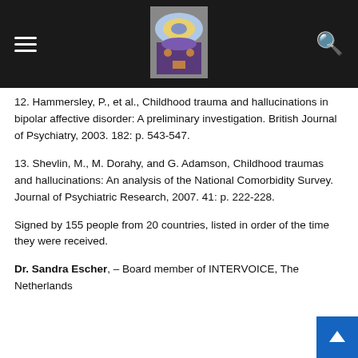12. Hammersley, P., et al., Childhood trauma and hallucinations in bipolar affective disorder: A preliminary investigation. British Journal of Psychiatry, 2003. 182: p. 543-547.
13. Shevlin, M., M. Dorahy, and G. Adamson, Childhood traumas and hallucinations: An analysis of the National Comorbidity Survey. Journal of Psychiatric Research, 2007. 41: p. 222-228.
Signed by 155 people from 20 countries, listed in order of the time they were received.
Dr. Sandra Escher, – Board member of INTERVOICE, The Netherlands